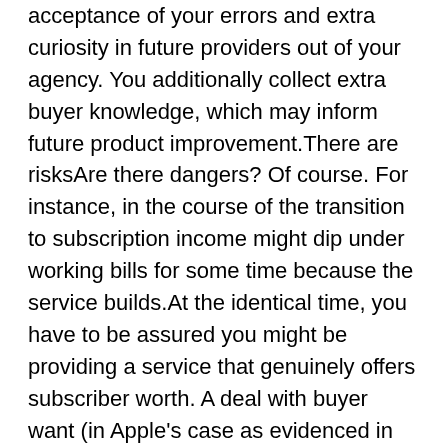acceptance of your errors and extra curiosity in future providers out of your agency. You additionally collect extra buyer knowledge, which may inform future product improvement.There are risksAre there dangers? Of course. For instance, in the course of the transition to subscription income might dip under working bills for some time because the service builds.At the identical time, you have to be assured you might be providing a service that genuinely offers subscriber worth. A deal with buyer want (in Apple's case as evidenced in buyer satisfaction) is important to underpin that transition.This should even be mirrored within the tradition of your online business. (That's vital. A CFO Research/Salesforce survey confirmed two-thirds of corporations making an attempt to construct subscription enterprise confronted operational challenges inside their very own inner tradition.)Apple acknowledges buyer communications as basic to its success — but additionally is aware of it should provide services and